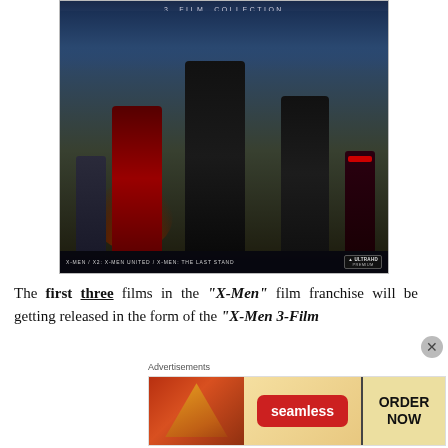[Figure (photo): X-Men 3-Film Collection movie poster showing characters in black leather costumes including Wolverine (center), Jean Grey in red, Storm in black, Cyclops, and Professor X. Text at top reads '3-FILM COLLECTION'. Bottom reads 'X-MEN / X2: X-MEN UNITED / X-MEN: THE LAST STAND' with ULTRAHD PREMIUM badge.]
The first three films in the "X-Men" film franchise will be getting released in the form of the "X-Men 3-Film
Advertisements
[Figure (photo): Advertisement banner for Seamless food delivery service showing pizza slices on the left, Seamless logo in red in the center, and ORDER NOW button on the right.]